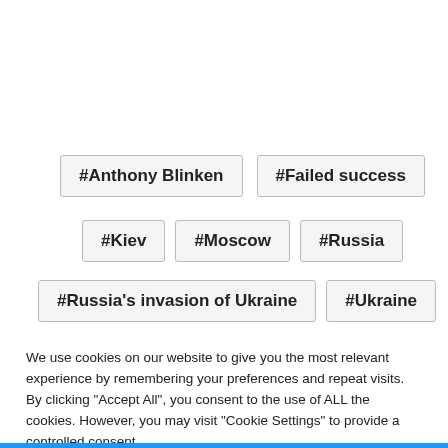#Anthony Blinken
#Failed success
#Kiev
#Moscow
#Russia
#Russia's invasion of Ukraine
#Ukraine
We use cookies on our website to give you the most relevant experience by remembering your preferences and repeat visits. By clicking “Accept All”, you consent to the use of ALL the cookies. However, you may visit "Cookie Settings" to provide a controlled consent.
Cookie Settings  Accept All